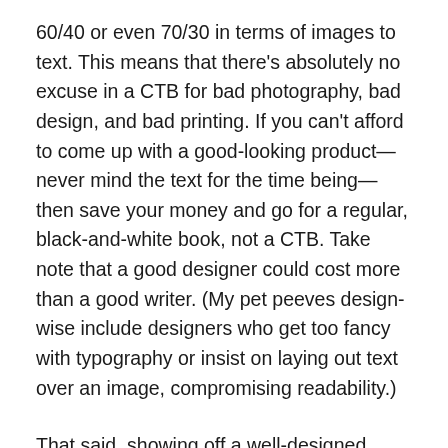60/40 or even 70/30 in terms of images to text. This means that there's absolutely no excuse in a CTB for bad photography, bad design, and bad printing. If you can't afford to come up with a good-looking product—never mind the text for the time being—then save your money and go for a regular, black-and-white book, not a CTB. Take note that a good designer could cost more than a good writer. (My pet peeves design-wise include designers who get too fancy with typography or insist on laying out text over an image, compromising readability.)
That said, showing off a well-designed book with awful text—poorly written and riddled with grammatical errors and misspellings—will be much like going to town with a date with the looks but also the brains of a lovebird (not that some people would mind). So invest in a good writer, one who reimagines content of the book and stays true of